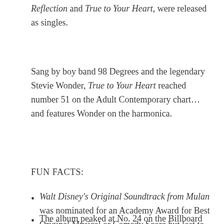Reflection and True to Your Heart, were released as singles.
Sang by boy band 98 Degrees and the legendary Stevie Wonder, True to Your Heart reached number 51 on the Adult Contemporary chart… and features Wonder on the harmonica.
FUN FACTS:
Walt Disney's Original Soundtrack from Mulan was nominated for an Academy Award for Best Original Musical or Comedy Score but lost to Shakespeare in Love.
The album peaked at No. 24 on the Billboard 200